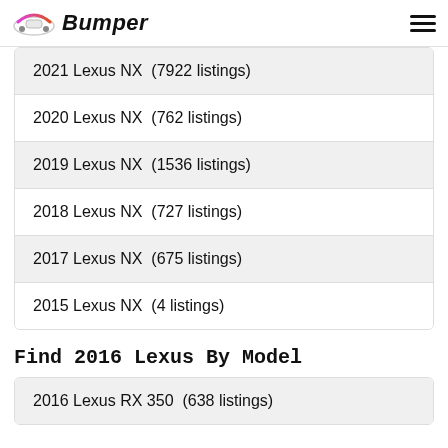Bumper
2021 Lexus NX  (7922 listings)
2020 Lexus NX  (762 listings)
2019 Lexus NX  (1536 listings)
2018 Lexus NX  (727 listings)
2017 Lexus NX  (675 listings)
2015 Lexus NX  (4 listings)
Find 2016 Lexus By Model
2016 Lexus RX 350  (638 listings)